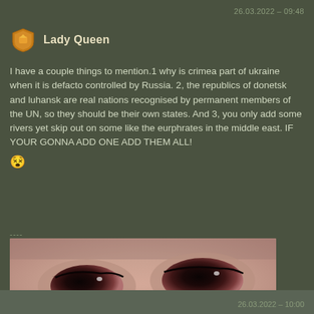26.03.2022 - 09:48
Lady Queen
I have a couple things to mention.1 why is crimea part of ukraine when it is defacto controlled by Russia. 2, the republics of donetsk and luhansk are real nations recognised by permanent members of the UN, so they should be their own states. And 3, you only add some rivers yet skip out on some like the eurphrates in the middle east. IF YOUR GONNA ADD ONE ADD THEM ALL! 😵
[Figure (photo): Close-up photo of two human eyes looking intensely at the camera, skin tone warm brownish]
[spectator] 🇺🇦 ZeroWing: I'm not mad, just disappointed
26.03.2022 - 10:00